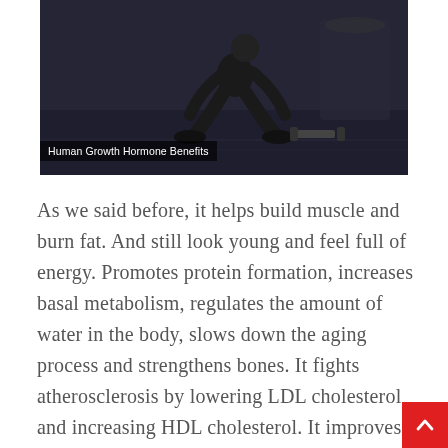[Figure (photo): A person in athletic wear squatting in a gym, with a dark background. A caption overlay at the bottom left reads 'Human Growth Hormone Benefits'.]
As we said before, it helps build muscle and burn fat. And still look young and feel full of energy. Promotes protein formation, increases basal metabolism, regulates the amount of water in the body, slows down the aging process and strengthens bones. It fights atherosclerosis by lowering LDL cholesterol and increasing HDL cholesterol. It improves cognitive functions, affects the increase in the number of connections between neurons in the brain, making a